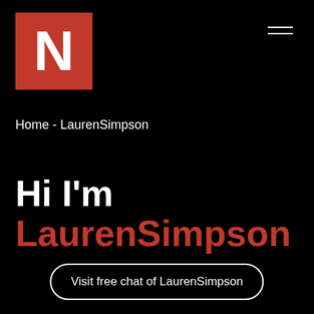[Figure (logo): Red square with white bold letter N — site logo]
Home - LaurenSimpson
Hi I'm
LaurenSimpson
Visit free chat of LaurenSimpson